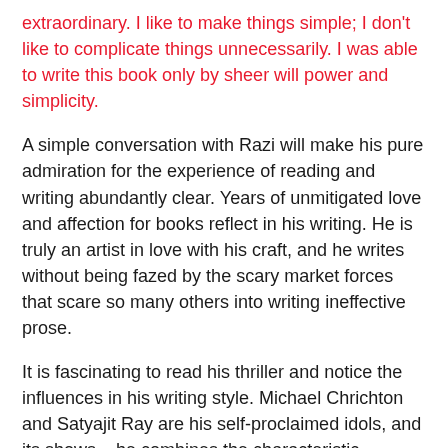extraordinary. I like to make things simple; I don't like to complicate things unnecessarily. I was able to write this book only by sheer will power and simplicity.
A simple conversation with Razi will make his pure admiration for the experience of reading and writing abundantly clear. Years of unmitigated love and affection for books reflect in his writing. He is truly an artist in love with his craft, and he writes without being fazed by the scary market forces that scare so many others into writing ineffective prose.
It is fascinating to read his thriller and notice the influences in his writing style. Michael Chrichton and Satyajit Ray are his self-proclaimed idols, and its shows – he combines the characteristic Chrichton-esque use of literary tension with the sombre rustic framing of plots that Ray was famous for.